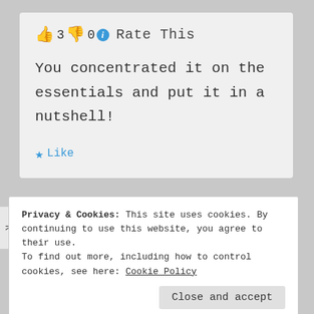👍 3 👎 0 ℹ Rate This
You concentrated it on the essentials and put it in a nutshell!
★ Like
Privacy & Cookies: This site uses cookies. By continuing to use this website, you agree to their use.
To find out more, including how to control cookies, see here: Cookie Policy
Close and accept